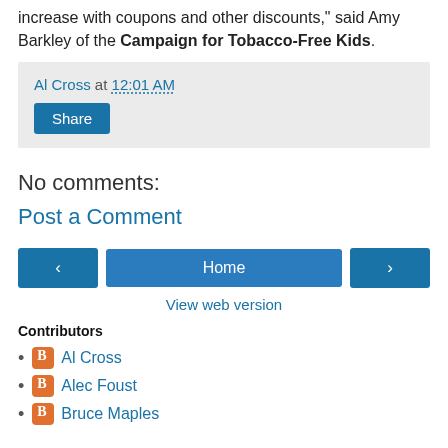increase with coupons and other discounts," said Amy Barkley of the Campaign for Tobacco-Free Kids.
Al Cross at 12:01 AM
Share
No comments:
Post a Comment
Home
View web version
Contributors
Al Cross
Alec Foust
Bruce Maples